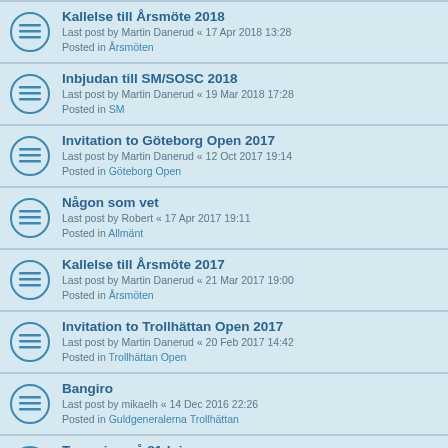Kallelse till Årsmöte 2018
Last post by Martin Danerud « 17 Apr 2018 13:28
Posted in Årsmöten
Inbjudan till SM/SOSC 2018
Last post by Martin Danerud « 19 Mar 2018 17:28
Posted in SM
Invitation to Göteborg Open 2017
Last post by Martin Danerud « 12 Oct 2017 19:14
Posted in Göteborg Open
Någon som vet
Last post by Robert « 17 Apr 2017 19:11
Posted in Allmänt
Kallelse till Årsmöte 2017
Last post by Martin Danerud « 21 Mar 2017 19:00
Posted in Årsmöten
Invitation to Trollhättan Open 2017
Last post by Martin Danerud « 20 Feb 2017 14:42
Posted in Trollhättan Open
Bangiro
Last post by mikaelh « 14 Dec 2016 22:26
Posted in Guldgeneralerna Trollhättan
Turnering på 81dojo
Last post by MikaelK « 04 Dec 2016 23:14
Posted in Övriga tävlingar
Invitation to Göteborg Open 2016